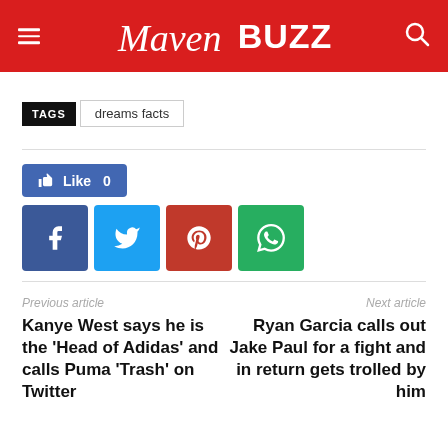MavenBuzz
TAGS  dreams facts
Like 0
Previous article
Kanye West says he is the 'Head of Adidas' and calls Puma 'Trash' on Twitter
Next article
Ryan Garcia calls out Jake Paul for a fight and in return gets trolled by him